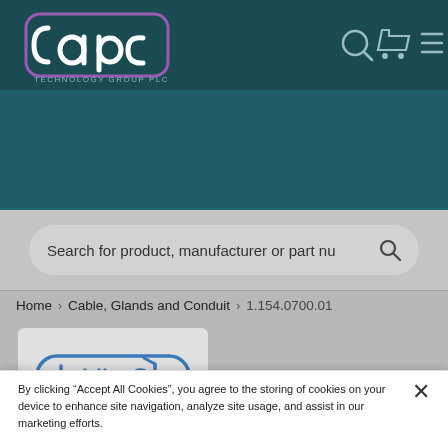[Figure (logo): APC Technology Group PLC logo in white and purple on dark teal navbar, with search, cart, and menu icons]
[Figure (photo): Dark teal hero banner area]
Search for product, manufacturer or part nu
Home > Cable, Glands and Conduit > 1.154.0700.01
[Figure (logo): Hummel brand logo in blue on light gray product card]
By clicking “Accept All Cookies”, you agree to the storing of cookies on your device to enhance site navigation, analyze site usage, and assist in our marketing efforts.